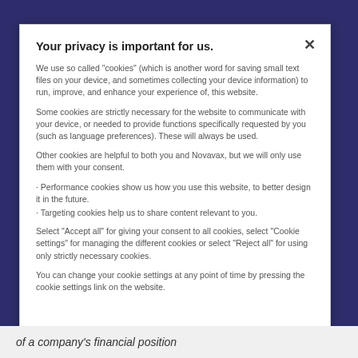Your privacy is important for us.
We use so called "cookies" (which is another word for saving small text files on your device, and sometimes collecting your device information) to run, improve, and enhance your experience of, this website.
Some cookies are strictly necessary for the website to communicate with your device, or needed to provide functions specifically requested by you (such as language preferences). These will always be used.
Other cookies are helpful to both you and Novavax, but we will only use them with your consent.
Performance cookies show us how you use this website, to better design it in the future.
Targeting cookies help us to share content relevant to you.
Select "Accept all" for giving your consent to all cookies, select "Cookie settings" for managing the different cookies or select "Reject all" for using only strictly necessary cookies.
You can change your cookie settings at any point of time by pressing the cookie settings link on the website.
of a company's financial position